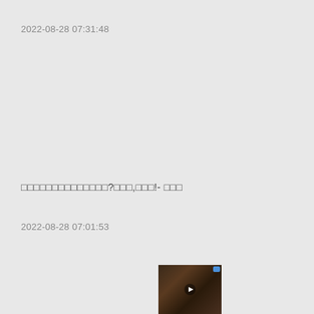2022-08-28 07:31:48
□□□□□□□□□□□□□□?□□□,□□□!- □□□
2022-08-28 07:01:53
[Figure (photo): Thumbnail image of a person, with a play button icon and a small blue indicator in the top-right corner]